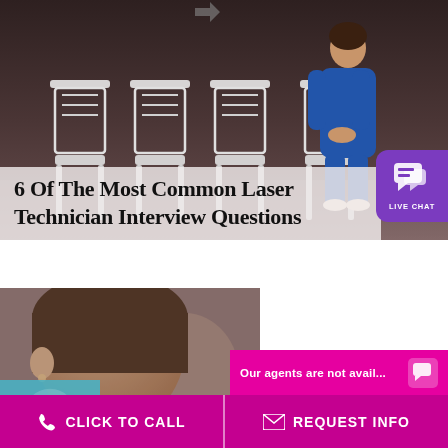[Figure (photo): Woman in blue dress sitting in a row of white chairs in a waiting room, against a dark background]
6 Of The Most Common Laser Technician Interview Questions
[Figure (photo): Close-up back-of-head shot of a person, interview setting]
Our agents are not avail...
CLICK TO CALL
REQUEST INFO